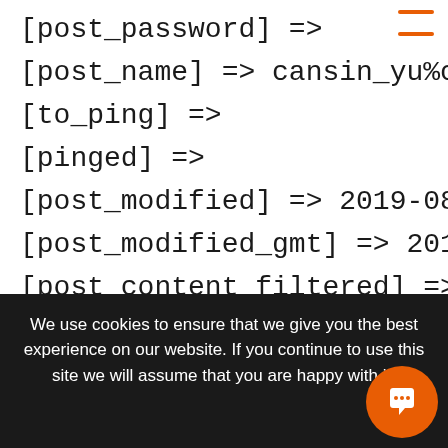[post_password] =>
[post_name] => cansin_yu%cc%88k...
[to_ping] =>
[pinged] =>
[post_modified] => 2019-08-30 11...
[post_modified_gmt] => 2019-08-3...
[post_content_filtered] =>
[post_parent] => 0
[guid] => https://www.deregtcab...
[menu_order] => 0
[post_type] => post
[post_mime_type] =>
We use cookies to ensure that we give you the best experience on our website. If you continue to use this site we will assume that you are happy with it.